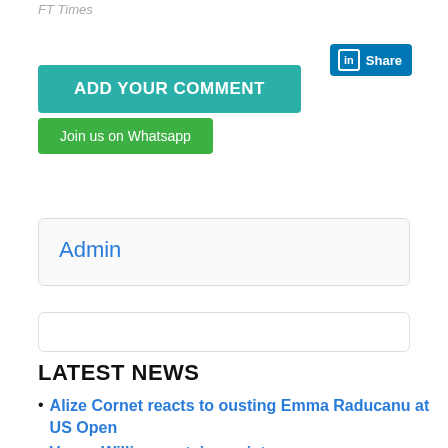FT Times
[Figure (other): LinkedIn Share button with blue background, 'in' icon and 'Share' text]
ADD YOUR COMMENT
Join us on Whatsapp
Admin
LATEST NEWS
Alize Cornet reacts to ousting Emma Raducanu at US Open
Venus Williams retains quiet on